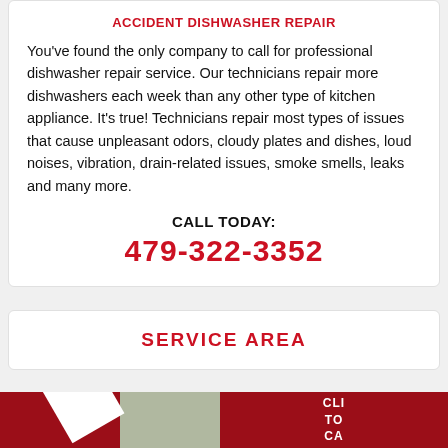ACCIDENT DISHWASHER REPAIR
You've found the only company to call for professional dishwasher repair service. Our technicians repair more dishwashers each week than any other type of kitchen appliance. It's true! Technicians repair most types of issues that cause unpleasant odors, cloudy plates and dishes, loud noises, vibration, drain-related issues, smoke smells, leaks and many more.
CALL TODAY:
479-322-3352
SERVICE AREA
[Figure (map): Partial map view at bottom of page with red diagonal overlay and text reading CLICK TO CALL]